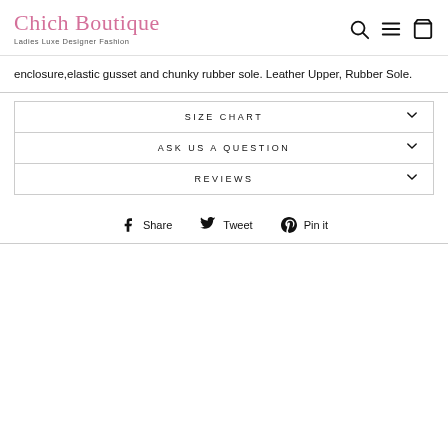Chich Boutique — Ladies Luxe Designer Fashion
enclosure,elastic gusset and chunky rubber sole. Leather Upper, Rubber Sole.
SIZE CHART
ASK US A QUESTION
REVIEWS
Share  Tweet  Pin it